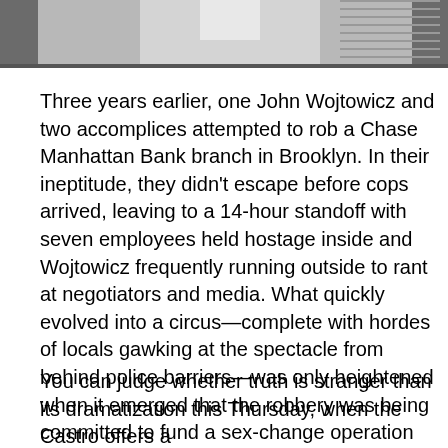[Figure (photo): Black and white photograph showing partial view of a person in light-colored clothing, cropped at top of page]
Three years earlier, one John Wojtowicz and two accomplices attempted to rob a Chase Manhattan Bank branch in Brooklyn. In their ineptitude, they didn't escape before cops arrived, leaving to a 14-hour standoff with seven employees held hostage inside and Wojtowicz frequently running outside to rant at negotiators and media. What quickly evolved into a circus—complete with hordes of locals gawking at the spectacle from behind police barriers—was only heightened when it emerged that the robbery was being committed to fund a sex-change operation for John's cross-dressing lover.
You can judge whether truth is stranger than its dramatization this Thursday, when the Castro offers a double bill of Dog Day Afternoon, the oscar-winning drama